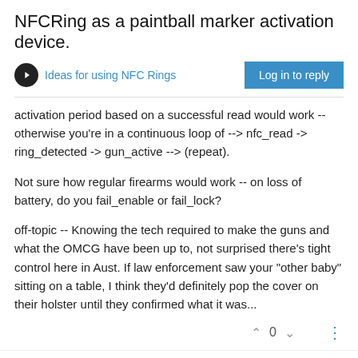NFCRing as a paintball marker activation device.
Ideas for using NFC Rings
Log in to reply
activation period based on a successful read would work -- otherwise you're in a continuous loop of --> nfc_read -> ring_detected -> gun_active --> (repeat).
Not sure how regular firearms would work -- on loss of battery, do you fail_enable or fail_lock?
off-topic -- Knowing the tech required to make the guns and what the OMCG have been up to, not surprised there's tight control here in Aust. If law enforcement saw your "other baby" sitting on a table, I think they'd definitely pop the cover on their holster until they confirmed what it was...
0
Lokki COMMUNITY HELPER
Hi @gth, 'marker' is from the origin of the things when they were